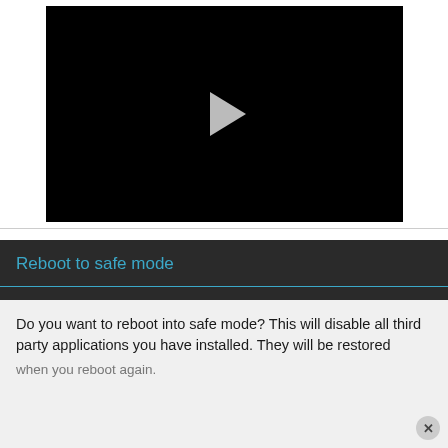[Figure (screenshot): Video player with black background and a white play button triangle in the center]
[Figure (screenshot): Android dialog box titled 'Reboot to safe mode' with blue title text on dark background and body text reading: 'Do you want to reboot into safe mode? This will disable all third party applications you have installed. They will be restored when you reboot again.' with a close (X) button.]